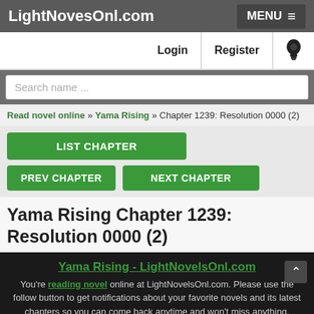LightNovesOnl.com  MENU
Login  Register
Search name ...
Read novel online » Yama Rising » Chapter 1239: Resolution 0000 (2)
LIST CHAPTER
PREV CHAPTER
NEXT CHAPTER
Yama Rising Chapter 1239: Resolution 0000 (2)
Yama Rising - LightNovelsOnl.com
You're reading novel online at LightNovelsOnl.com. Please use the follow button to get notifications about your favorite novels and its latest chapters so you can come back anytime and won't miss anything.